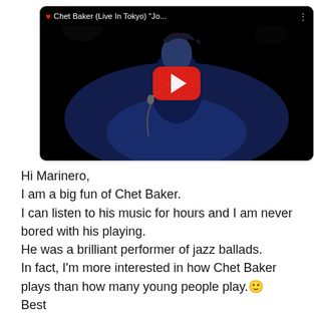[Figure (screenshot): YouTube video thumbnail showing Chet Baker Live in Tokyo, performer in dark suit holding microphone on stage with dark background, YouTube play button overlay in center]
Hi Marinero,
I am a big fun of Chet Baker.
I can listen to his music for hours and I am never bored with his playing.
He was a brilliant performer of jazz ballads.
In fact, I'm more interested in how Chet Baker plays than how many young people play.
Best
Kris